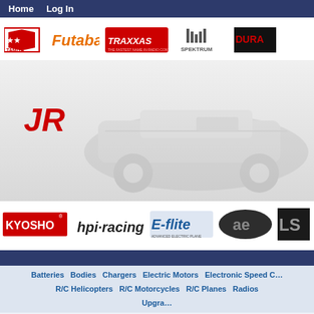Home   Log In
[Figure (illustration): RC hobby shop website header with brand logos: Tamiya, Futaba, Traxxas, Spektrum, Dura, JR, Kyosho, HPI Racing, E-flite, AE, and others. Background shows an RC car chassis image.]
Batteries   Bodies   Chargers   Electric Motors   Electronic Speed Controllers   R/C Helicopters   R/C Motorcycles   R/C Planes   Radios   Upgrades
Categories
Batteries
Bodies->
Chargers
Electric Motors->
Electronic Speed Controllers->
Electronics->
> Astro Flight
Home :: Electronics :: Astro Flight ::
[Figure (logo): AstroFlight logo]
Astro Flight
[Figure (photo): Product photo of an electronic speed controller (ESC) circuit board with red wires]
Ast
$39
The